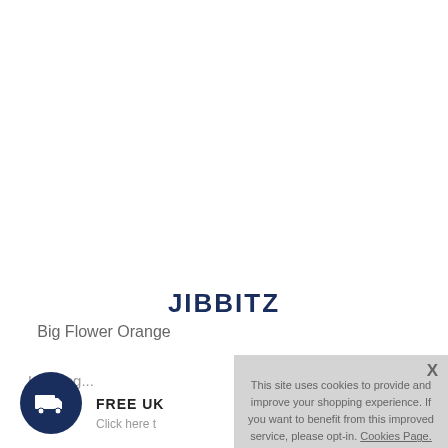JIBBITZ
Big Flower Orange
Loading...
FREE UK
Click here t
This site uses cookies to provide and improve your shopping experience. If you want to benefit from this improved service, please opt-in. Cookies Page.
I opt-in to a better browsing experience
ACCEPT COOKIES